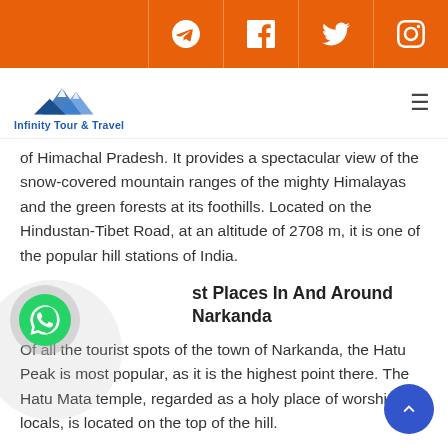Social media icons: Telegram, Facebook, Twitter, Instagram
[Figure (logo): Infinity Tour & Travel logo with mountain graphic and blue text]
of Himachal Pradesh. It provides a spectacular view of the snow-covered mountain ranges of the mighty Himalayas and the green forests at its foothills. Located on the Hindustan-Tibet Road, at an altitude of 2708 m, it is one of the popular hill stations of India.
st Places In And Around Narkanda
Of all the tourist spots of the town of Narkanda, the Hatu Peak is most popular, as it is the highest point there. The Hatu Mata temple, regarded as a holy place of worship by locals, is located on the top of the hill.
The Mahamaya Temple, dedicated to the Hindu goddess of time and change, Kali is another popular